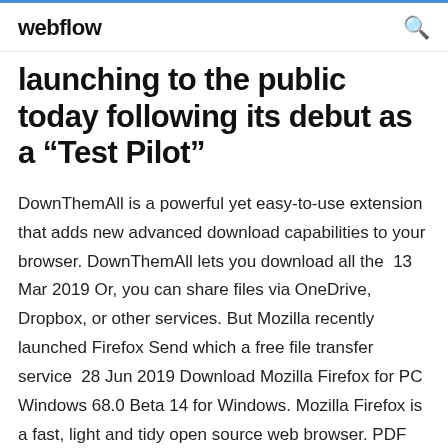webflow
launching to the public today following its debut as a “Test Pilot”
DownThemAll is a powerful yet easy-to-use extension that adds new advanced download capabilities to your browser. DownThemAll lets you download all the  13 Mar 2019 Or, you can share files via OneDrive, Dropbox, or other services. But Mozilla recently launched Firefox Send which a free file transfer service  28 Jun 2019 Download Mozilla Firefox for PC Windows 68.0 Beta 14 for Windows. Mozilla Firefox is a fast, light and tidy open source web browser. PDF files can be both incredibly useful and